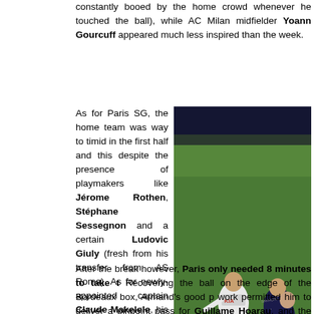constantly booed by the home crowd whenever he touched the ball), while AC Milan midfielder Yoann Gourcuff appeared much less inspired than the week.
[Figure (photo): Soccer match action photo showing a Bordeaux player in white KIA-sponsored kit shooting the ball while two PSG players in dark navy kit challenge him. A FIFA advertising board is visible in the background.]
As for Paris SG, the home team was way to timid in the first half and this despite the presence of playmakers like Jérome Rothen, Stéphane Sessegnon and a certain Ludovic Giuly (fresh from his transfer from AS Roma). As for newly-appointed captain Claude Makelele, his defensive work was productive… his passing a bit less. With the ex-Chelsea midfielder lacking the support of Jérémy Clément (left on the bench in favor of Chantôme), PSG were severely deficient in creativity and the only first half they could muster were a mid-range Giuly volley (deflected by the B defense) and shot by Sessegnon miles over the bar.
After the break however, Paris only needed 8 minutes to take t Recovering the ball on the edge of the Bordeaux box, Armand's good p work permitted him to deliver a pinpoint pass for Guillame Hoarau, and the topscorer had no trouble in beating Ramé with a left-footed instep. 1-0 Paris